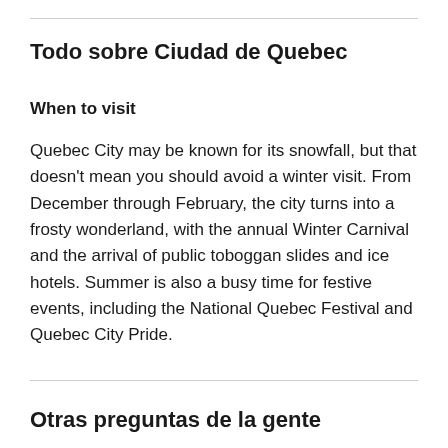Todo sobre Ciudad de Quebec
When to visit
Quebec City may be known for its snowfall, but that doesn't mean you should avoid a winter visit. From December through February, the city turns into a frosty wonderland, with the annual Winter Carnival and the arrival of public toboggan slides and ice hotels. Summer is also a busy time for festive events, including the National Quebec Festival and Quebec City Pride.
Otras preguntas de la gente